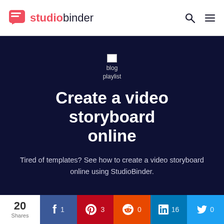studiobinder
[Figure (screenshot): Broken image placeholder showing 'blog playlist' text]
Create a video storyboard online
Tired of templates? See how to create a video storyboard online using StudioBinder.
20 Shares | Facebook 1 | Pinterest 3 | Reddit 0 | LinkedIn 16 | Twitter 0